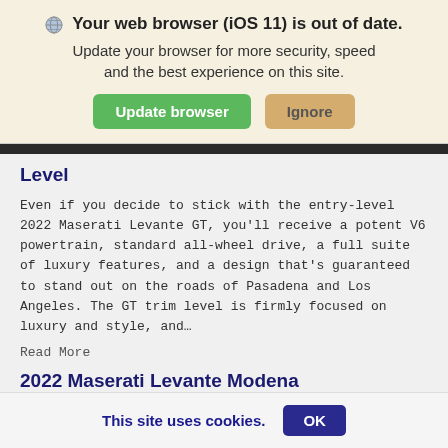🌐 Your web browser (iOS 11) is out of date. Update your browser for more security, speed and the best experience on this site.
Level
Even if you decide to stick with the entry-level 2022 Maserati Levante GT, you'll receive a potent V6 powertrain, standard all-wheel drive, a full suite of luxury features, and a design that's guaranteed to stand out on the roads of Pasadena and Los Angeles. The GT trim level is firmly focused on luxury and style, and…
Read More
2022 Maserati Levante Modena
Stepping up from the base level to the 2022 Maserati Levante Modena will raise the price
This site uses cookies.